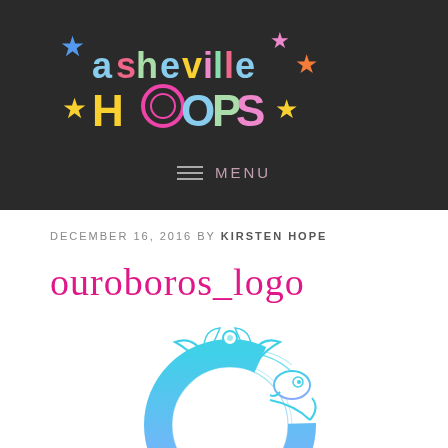[Figure (logo): Asheville Hoops logo with colorful stars and circular hoop letters on dark background]
≡  MENU
DECEMBER 16, 2016 BY KIRSTEN HOPE
ouroboros_logo
[Figure (illustration): Ouroboros snake/dragon biting its own tail in a circle, drawn in cyan/blue gradient linework style]